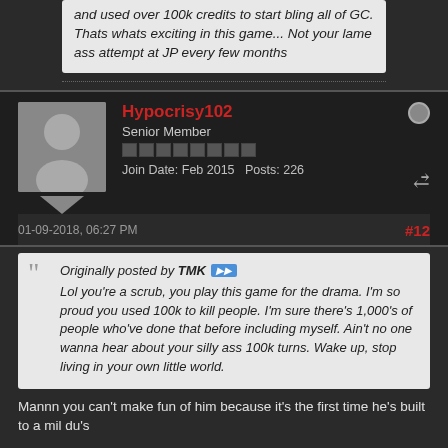and used over 100k credits to start bling all of GC. Thats whats exciting in this game... Not your lame ass attempt at JP every few months
Hypocrisy102
Senior Member
Join Date: Feb 2015   Posts: 226
01-09-2018, 06:27 PM
#12
Originally posted by TMK
Lol you're a scrub, you play this game for the drama. I'm so proud you used 100k to kill people. I'm sure there's 1,000's of people who've done that before including myself. Ain't no one wanna hear about your silly ass 100k turns. Wake up, stop living in your own little world.
Mannn you can't make fun of him because it's the first time he's built to a mil du's